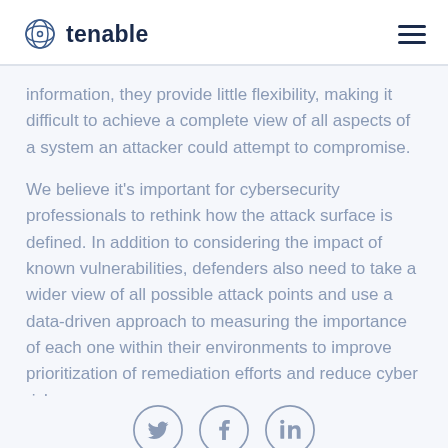tenable
information, they provide little flexibility, making it difficult to achieve a complete view of all aspects of a system an attacker could attempt to compromise.
We believe it's important for cybersecurity professionals to rethink how the attack surface is defined. In addition to considering the impact of known vulnerabilities, defenders also need to take a wider view of all possible attack points and use a data-driven approach to measuring the importance of each one within their environments to improve prioritization of remediation efforts and reduce cyber risk.
[Figure (illustration): Social media icons for Twitter, Facebook, and LinkedIn displayed in circular outlines]